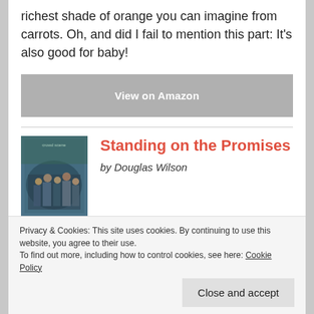richest shade of orange you can imagine from carrots. Oh, and did I fail to mention this part: It's also good for baby!
View on Amazon
[Figure (illustration): Book cover for Standing on the Promises by Douglas Wilson, showing a painting of a crowd of people]
Standing on the Promises
by Douglas Wilson
Privacy & Cookies: This site uses cookies. By continuing to use this website, you agree to their use.
To find out more, including how to control cookies, see here: Cookie Policy
Close and accept